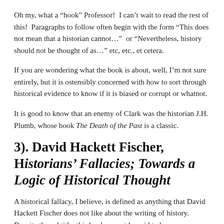Oh my, what a “hook” Professor!  I can’t wait to read the rest of this!  Paragraphs to follow often begin with the form “This does not mean that a historian cannot…”  or “Nevertheless, history should not be thought of as…” etc, etc., et cetera.
If you are wondering what the book is about, well, I’m not sure entirely, but it is ostensibly concerned with how to sort through historical evidence to know if it is biased or corrupt or whatnot.
It is good to know that an enemy of Clark was the historian J.H. Plumb, whose book The Death of the Past is a classic.
3). David Hackett Fischer, Historians’ Fallacies; Towards a Logic of Historical Thought
A historical fallacy, I believe, is defined as anything that David Hackett Fischer does not like about the writing of history. Despite the subtitle, this book cannot be said to be some systematic “logic” of historical thought, but only a collection of thoughts, sometimes